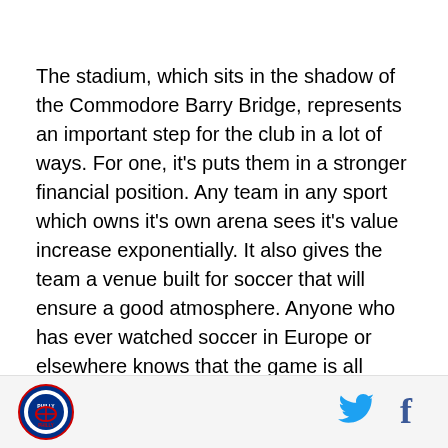The stadium, which sits in the shadow of the Commodore Barry Bridge, represents an important step for the club in a lot of ways. For one, it's puts them in a stronger financial position. Any team in any sport which owns it's own arena sees it's value increase exponentially. It also gives the team a venue built for soccer that will ensure a good atmosphere. Anyone who has ever watched soccer in Europe or elsewhere knows that the game is all about the atmosphere. With no breaks in the game, there's no chance to blare music over the stadium speakers or show those silly "which hat is the ball under" games on the jumbotron. The atmosphere has be created organically from the
[Figure (logo): Philly soccer club circular logo with red, white and blue colors]
[Figure (logo): Twitter bird icon in blue]
[Figure (logo): Facebook f icon in dark blue]